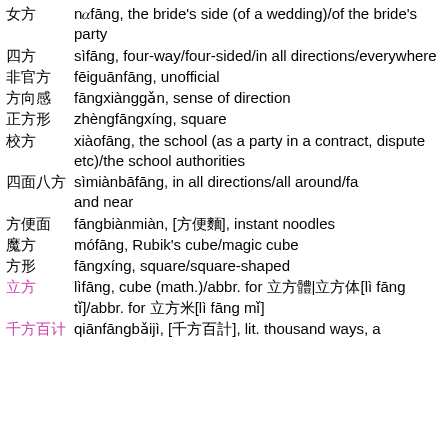女方 nǚfāng, the bride's side (of a wedding)/of the bride's party
四方 sìfāng, four-way/four-sided/in all directions/everywhere
非官方 fēiguānfāng, unofficial
方向感 fāngxiànggǎn, sense of direction
正方形 zhèngfāngxíng, square
校方 xiàofāng, the school (as a party in a contract, dispute etc)/the school authorities
四面八方 sìmiànbāfāng, in all directions/all around/far and near
方便面 fāngbiànmiàn, [方便麵], instant noodles
魔方 mófāng, Rubik's cube/magic cube
方形 fāngxíng, square/square-shaped
立方 lìfāng, cube (math.)/abbr. for 立方體|立方体[lì fāng tǐ]/abbr. for 立方米[lì fāng mǐ]
千方百计 qiānfāngbǎijì, [千方百計], lit. thousand ways, a